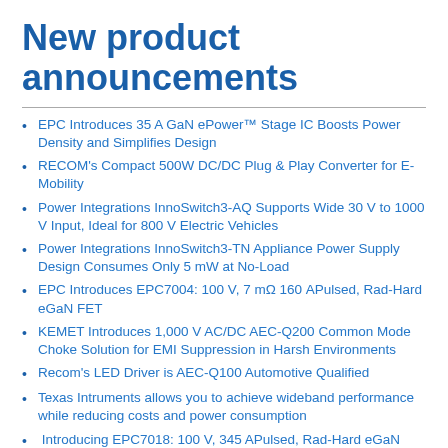New product announcements
EPC Introduces 35 A GaN ePower™ Stage IC Boosts Power Density and Simplifies Design
RECOM's Compact 500W DC/DC Plug & Play Converter for E-Mobility
Power Integrations InnoSwitch3-AQ Supports Wide 30 V to 1000 V Input, Ideal for 800 V Electric Vehicles
Power Integrations InnoSwitch3-TN Appliance Power Supply Design Consumes Only 5 mW at No-Load
EPC Introduces EPC7004: 100 V, 7 mΩ 160 APulsed, Rad-Hard eGaN FET
KEMET Introduces 1,000 V AC/DC AEC-Q200 Common Mode Choke Solution for EMI Suppression in Harsh Environments
Recom's LED Driver is AEC-Q100 Automotive Qualified
Texas Intruments allows you to achieve wideband performance while reducing costs and power consumption
Introducing EPC7018: 100 V, 345 APulsed, Rad-Hard eGaN FET
RECOM's RRY series in QFN package now meets AEC…